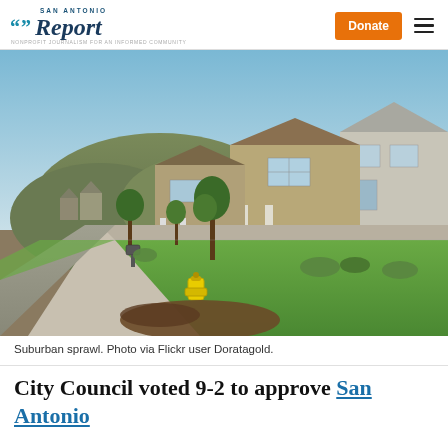San Antonio Report — Donate | Menu
[Figure (photo): Suburban street lined with new two-story homes, green lawns, sidewalks, trees, a yellow fire hydrant in the foreground, and a hill in the background under a blue sky.]
Suburban sprawl. Photo via Flickr user Doratagold.
City Council voted 9-2 to approve San Antonio